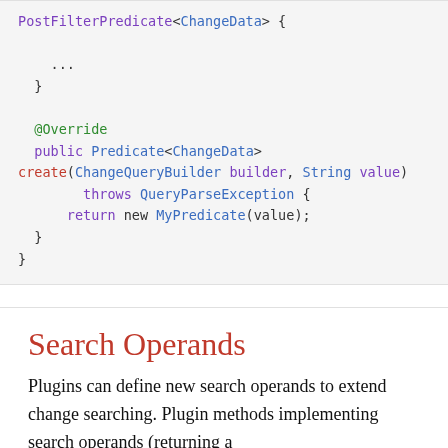[Figure (other): Code block showing Java code with PostFilterPredicate changeData class continuation, including @Override annotation, public Predicate<ChangeData> create method with ChangeQueryBuilder builder, String value parameters, throws QueryParseException, and return new MyPredicate(value)]
Search Operands
Plugins can define new search operands to extend change searching. Plugin methods implementing search operands (returning a Predicate<ChangeData> ), must be defined on a class implementing one of the